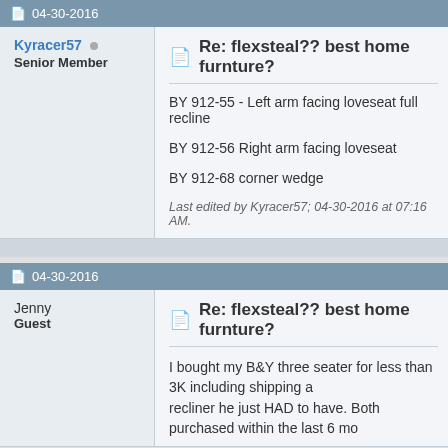04-30-2016
Kyracer57
Senior Member
Re: flexsteal?? best home furnture?
BY 912-55 - Left arm facing loveseat full recline
BY 912-56 Right arm facing loveseat
BY 912-68 corner wedge
Last edited by Kyracer57; 04-30-2016 at 07:16 AM.
04-30-2016
Jenny
Guest
Re: flexsteal?? best home furnture?
I bought my B&Y three seater for less than 3K including shipping a... reclinor he just HAD to have. Both purchased within the last 6 mo...